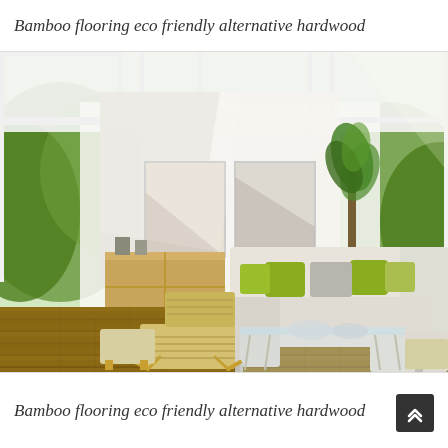Bamboo flooring eco friendly alternative hardwood
[Figure (photo): Modern bright living room with bamboo hardwood flooring, floor-to-ceiling windows showing green trees outside, white L-shaped sectional sofa with yellow-green accent pillows, glass coffee table, wooden sideboard, tall potted plant, and Barcelona-style chair in foreground]
Bamboo flooring eco friendly alternative hardwood